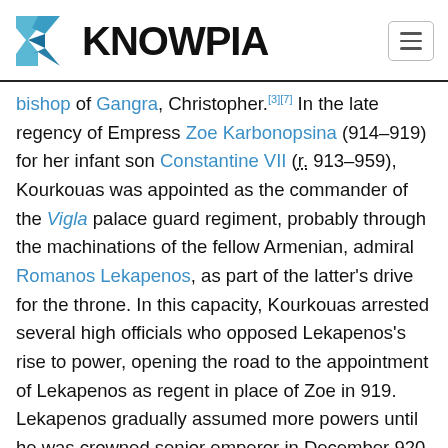KNOWPIA
bishop of Gangra, Christopher.[3][7] In the late regency of Empress Zoe Karbonopsina (914–919) for her infant son Constantine VII (r. 913–959), Kourkouas was appointed as the commander of the Vigla palace guard regiment, probably through the machinations of the fellow Armenian, admiral Romanos Lekapenos, as part of the latter's drive for the throne. In this capacity, Kourkouas arrested several high officials who opposed Lekapenos's rise to power, opening the road to the appointment of Lekapenos as regent in place of Zoe in 919. Lekapenos gradually assumed more powers until he was crowned senior emperor in December 920.[8][9] As a reward for his support, c. 923, Romanos Lekapenos promoted Kourkouas to